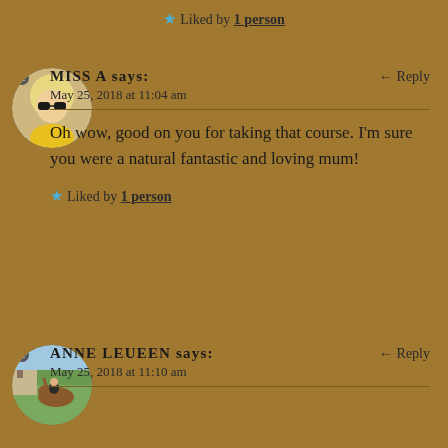Liked by 1 person
MISS A says: May 25, 2018 at 11:04 am ← Reply
Oh wow, good on you for taking that course. I'm sure you were a natural fantastic and loving mum!
Liked by 1 person
ANNE LEUEEN says: May 25, 2018 at 11:10 am ← Reply